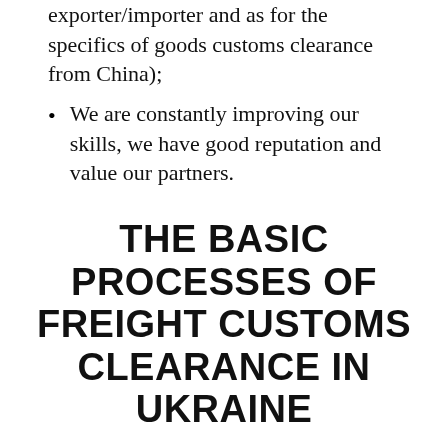exporter/importer and as for the specifics of goods customs clearance from China);
We are constantly improving our skills, we have good reputation and value our partners.
THE BASIC PROCESSES OF FREIGHT CUSTOMS CLEARANCE IN UKRAINE